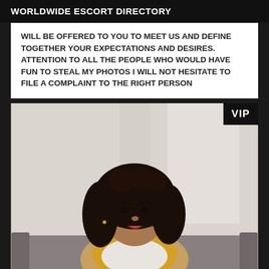WORLDWIDE ESCORT DIRECTORY
WILL BE OFFERED TO YOU TO MEET US AND DEFINE TOGETHER YOUR EXPECTATIONS AND DESIRES. ATTENTION TO ALL THE PEOPLE WHO WOULD HAVE FUN TO STEAL MY PHOTOS I WILL NOT HESITATE TO FILE A COMPLAINT TO THE RIGHT PERSON
[Figure (photo): Woman with long curly dark hair sitting on a grey sofa, wearing a yellow and white outfit, with light curtains in the background. A VIP badge is shown in the top right corner.]